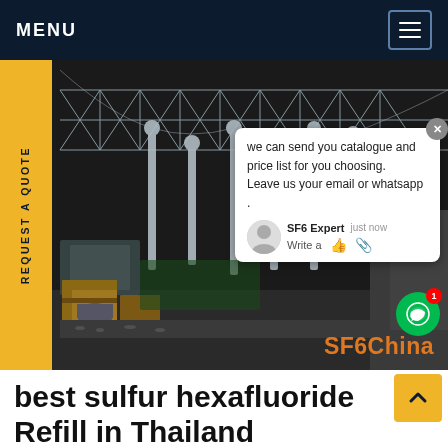MENU
[Figure (photo): Night-time photograph of an electrical substation with high-voltage equipment, insulators, transformers, and structural steel framework. Wooden crates visible in foreground. Chat popup overlay visible on image.]
REQUEST A QUOTE
we can send you catalogue and price list for you choosing. Leave us your email or whatsapp .
SF6 Expert   just now
Write a
SF6China
best sulfur hexafluoride Refill in Thailand